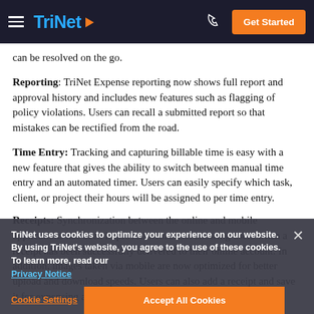TriNet — Get Started
can be resolved on the go.
Reporting: TriNet Expense reporting now shows full report and approval history and includes new features such as flagging of policy violations. Users can recall a submitted report so that mistakes can be rectified from the road.
Time Entry: Tracking and capturing billable time is easy with a new feature that gives the ability to switch between manual time entry and an automated timer. Users can easily specify which task, client, or project their hours will be assigned to per time entry.
Receipts: Synchronization between the online and mobile applications has been improved with alerts showing users when a receipt has been successfully delivered to their online account. In addition, images taken via mobile are now optimized for better upload and download speeds. Users can also add a receipt and save it for expensing at a later time.
TriNet uses cookies to optimize your experience on our website. By using TriNet's website, you agree to the use of these cookies. To learn more, read our Privacy Notice
Cookie Settings   Accept All Cookies